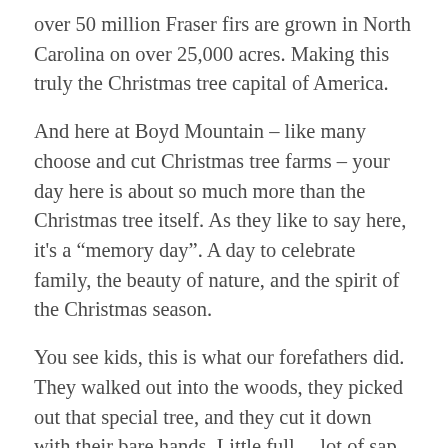over 50 million Fraser firs are grown in North Carolina on over 25,000 acres. Making this truly the Christmas tree capital of America.
And here at Boyd Mountain – like many choose and cut Christmas tree farms – your day here is about so much more than the Christmas tree itself. As they like to say here, it's a “memory day”. A day to celebrate family, the beauty of nature, and the spirit of the Christmas season.
You see kids, this is what our forefathers did. They walked out into the woods, they picked out that special tree, and they cut it down with their bare hands. Little full… lot of sap.